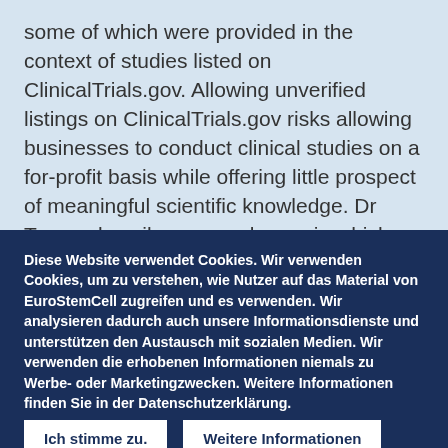some of which were provided in the context of studies listed on ClinicalTrials.gov. Allowing unverified listings on ClinicalTrials.gov risks allowing businesses to conduct clinical studies on a for-profit basis while offering little prospect of meaningful scientific knowledge. Dr Turner describes several ways in which pay-to-participate 'clinical studies' are often poorly designed. Frequently, proper controls
Diese Website verwendet Cookies. Wir verwenden Cookies, um zu verstehen, wie Nutzer auf das Material von EuroStemCell zugreifen und es verwenden. Wir analysieren dadurch auch unsere Informationsdienste und unterstützen den Austausch mit sozialen Medien. Wir verwenden die erhobenen Informationen niemals zu Werbe- oder Marketingzwecken. Weitere Informationen finden Sie in der Datenschutzerklärung.
Ich stimme zu. | Weitere Informationen